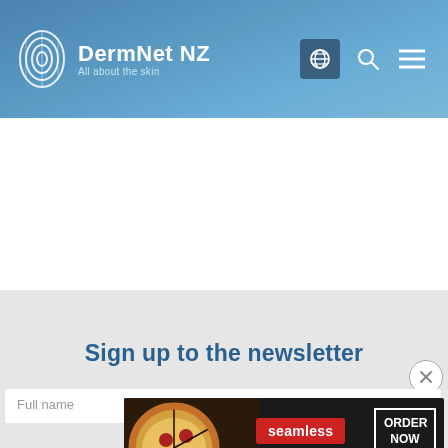DermNet NZ — All about the skin
Sign up to the newsletter
Full name
[Figure (screenshot): Seamless food delivery advertisement banner with pizza image, Seamless red logo, and ORDER NOW button]